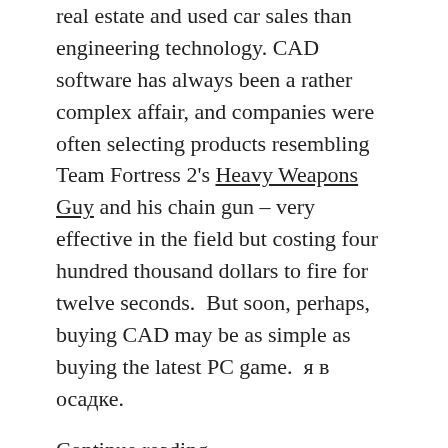real estate and used car sales than engineering technology. CAD software has always been a rather complex affair, and companies were often selecting products resembling Team Fortress 2's Heavy Weapons Guy and his chain gun – very effective in the field but costing four hundred thousand dollars to fire for twelve seconds.  But soon, perhaps, buying CAD may be as simple as buying the latest PC game.  я в осадке.
Continue reading →
Idiots, Passwords, Luggage, and SaaS
by Ed Lopategui on January 21, 2014.